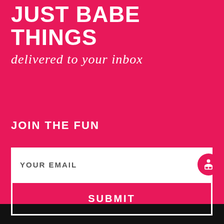JUST BABE THINGS
delivered to your inbox
JOIN THE FUN
YOUR EMAIL
SUBMIT